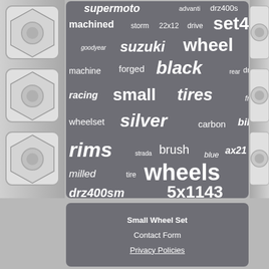[Figure (infographic): Word cloud on a dark grey rounded rectangle background showing wheel/rim related keywords of varying sizes. Keywords include: supermoto, advanti, drz400s, machined, storm, 22x12, drive, set4, goodyear, suzuki, wheel, machine, forged, black, rear, drz400, racing, small, tires, front, wheelset, silver, carbon, bike, rims, strada, brush, blue, ax21, milled, tire, wheels, honda, drz400sm, 5x1143. Flanked on left and right by chrome lug nut images.]
Small Wheel Set
Contact Form
Privacy Policies